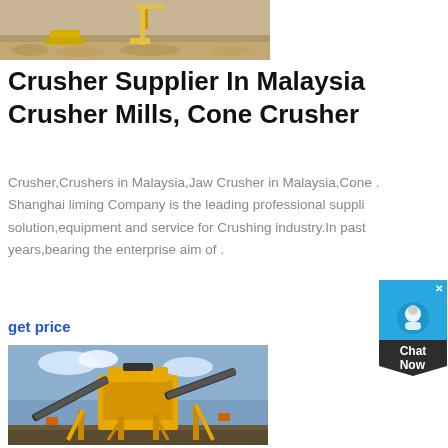[Figure (photo): Aerial/ground view of a mining or quarry site with yellow construction equipment and gravel/sand terrain]
Crusher Supplier In Malaysia Crusher Mills, Cone Crusher
Crusher,Crushers in Malaysia,Jaw Crusher in Malaysia,Cone . Shanghai liming Company is the leading professional suppli solution,equipment and service for Crushing industry.In past years,bearing the enterprise aim of .
get price
[Figure (photo): Large yellow industrial crusher/mining equipment with conveyor belts at a mining site outdoors]